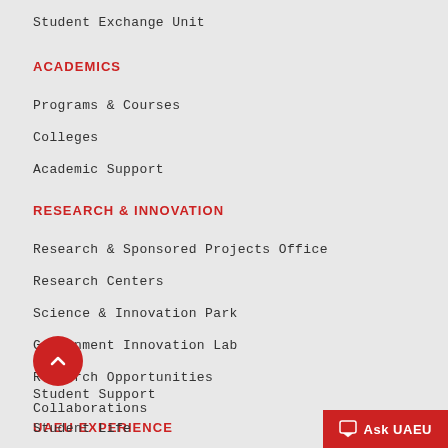Student Exchange Unit
ACADEMICS
Programs & Courses
Colleges
Academic Support
RESEARCH & INNOVATION
Research & Sponsored Projects Office
Research Centers
Science & Innovation Park
Government Innovation Lab
Research Opportunities
Collaborations
UAEU EXPERIENCE
Student Support
Student Life